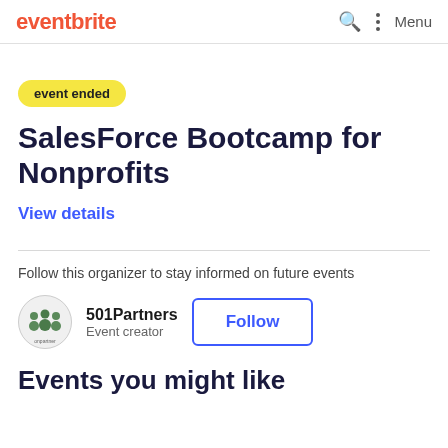eventbrite   Menu
event ended
SalesForce Bootcamp for Nonprofits
View details
Follow this organizer to stay informed on future events
501Partners
Event creator
Follow
Events you might like